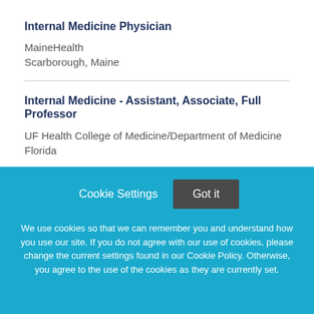Internal Medicine Physician
MaineHealth
Scarborough, Maine
Internal Medicine - Assistant, Associate, Full Professor
UF Health College of Medicine/Department of Medicine
Florida
Cookie Settings  Got it

We use cookies so that we can remember you and understand how you use our site. If you do not agree with our use of cookies, please change the current settings found in our Cookie Policy. Otherwise, you agree to the use of the cookies as they are currently set.